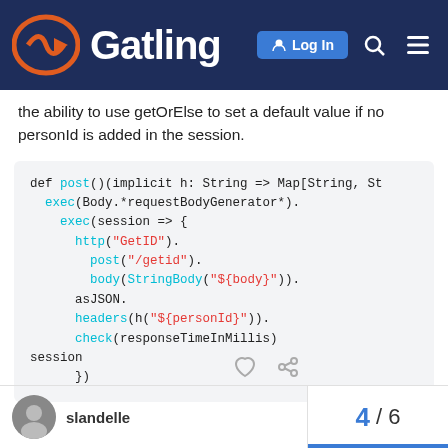Gatling — Log In
the ability to use getOrElse to set a default value if no personId is added in the session.
[Figure (screenshot): Code block showing Scala/Gatling code: def post()(implicit h: String => Map[String, St exec(Body.*requestBodyGenerator*). exec(session => { http("GetID"). post("/getid"). body(StringBody("${body}")). asJSON. headers(h("${personId}")). check(responseTimeInMillis) session }) ]
slandelle  4 / 6